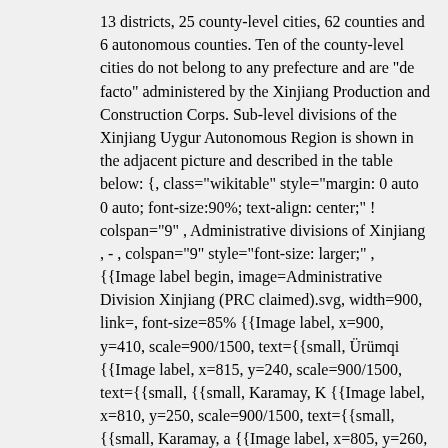13 districts, 25 county-level cities, 62 counties and 6 autonomous counties. Ten of the county-level cities do not belong to any prefecture and are "de facto" administered by the Xinjiang Production and Construction Corps. Sub-level divisions of the Xinjiang Uygur Autonomous Region is shown in the adjacent picture and described in the table below: {, class="wikitable" style="margin: 0 auto 0 auto; font-size:90%; text-align: center;" ! colspan="9" , Administrative divisions of Xinjiang , - , colspan="9" style="font-size: larger;" , {{Image label begin, image=Administrative Division Xinjiang (PRC claimed).svg, width=900, link=, font-size=85% {{Image label, x=900, y=410, scale=900/1500, text={{small, Ürümqi {{Image label, x=815, y=240, scale=900/1500, text={{small, {{small, Karamay, K {{Image label, x=810, y=250, scale=900/1500, text={{small, {{small, Karamay, a {{Image label, x=805, y=260, scale=900/1500, text= {{small, {{small, Karamay, r {{Image label, x=800, y=270, scale=900/1500, text={{small, {{small, Karamay, a {{Image label, x=790, y=280, scale=900/1500, text={{small, {{small, Karamay, m {{Image label, x=790, y=290, scale=900/1500, text= {{small, {{small, Karamay, a {{Image label, x=790,